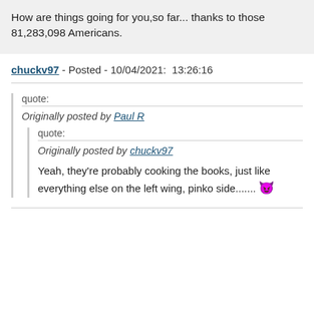How are things going for you,so far... thanks to those 81,283,098 Americans.
chuckv97 - Posted - 10/04/2021:  13:26:16
quote:
Originally posted by Paul R
quote:
Originally posted by chuckv97
Yeah, they're probably cooking the books, just like everything else on the left wing, pinko side....... 😈